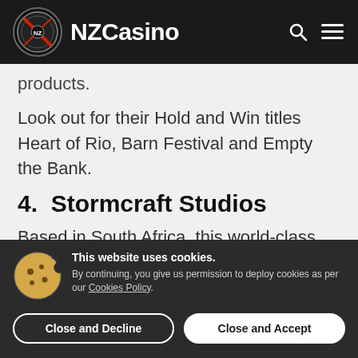NZCasino
products.
Look out for their Hold and Win titles Heart of Rio, Barn Festival and Empty the Bank.
4.  Stormcraft Studios
Based in South Africa, this world-class game developer has created some top titles,
This website uses cookies. By continuing, you give us permission to deploy cookies as per our Cookies Policy.
Close and Decline
Close and Accept